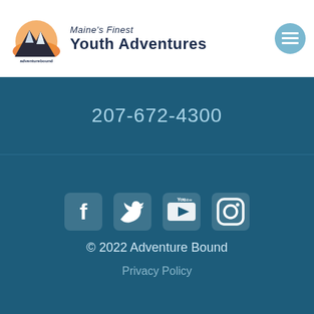[Figure (logo): Adventure Bound logo with mountain graphic and text 'Maine's Finest Youth Adventures']
207-672-4300
[Figure (illustration): Social media icons: Facebook, Twitter, YouTube, Instagram]
© 2022 Adventure Bound
Privacy Policy